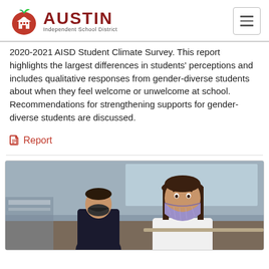AUSTIN Independent School District
2020-2021 AISD Student Climate Survey. This report highlights the largest differences in students' perceptions and includes qualitative responses from gender-diverse students about when they feel welcome or unwelcome at school. Recommendations for strengthening supports for gender-diverse students are discussed.
Report
[Figure (photo): Two children in a classroom wearing face masks; a girl in the foreground wearing a patterned purple mask and a white shirt, and a boy behind her wearing a black jacket and dark mask.]